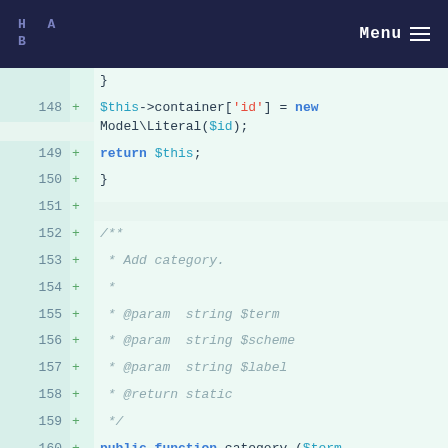H A B  Menu
[Figure (screenshot): Code diff view showing PHP code lines 148-163 with line numbers, plus signs, and syntax-highlighted code on a light green background]